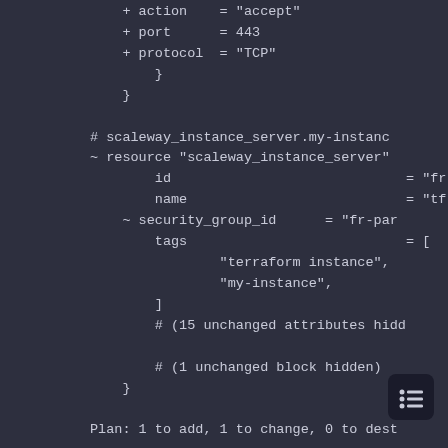[Figure (screenshot): Terminal/code editor screenshot showing Terraform plan output with infrastructure configuration code in a dark theme. Shows a scaleway_instance_server resource block with fields id, name, security_group_id, tags, and comments about unchanged attributes and blocks. Bottom shows beginning of Plan summary line.]
+ action    = "accept"
    + port        = 443
    + protocol  = "TCP"
        }
    }

# scaleway_instance_server.my-instanc
~ resource "scaleway_instance_server"
        id                             = "fr-par
        name                           = "tf-srv
    ~ security_group_id      = "fr-par
        tags                           = [
                "terraform instance",
                "my-instance",
        ]
        # (15 unchanged attributes hidd

        # (1 unchanged block hidden)
}

Plan: 1 to add, 1 to change, 0 to dest